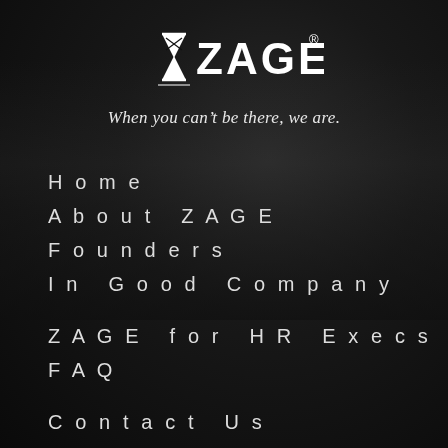[Figure (logo): ZAGE logo with hourglass icon and registered trademark symbol, white on dark background]
When you can't be there, we are.
Home
About ZAGE
Founders
In Good Company
ZAGE for HR Execs
FAQ
Contact Us
Work For Us